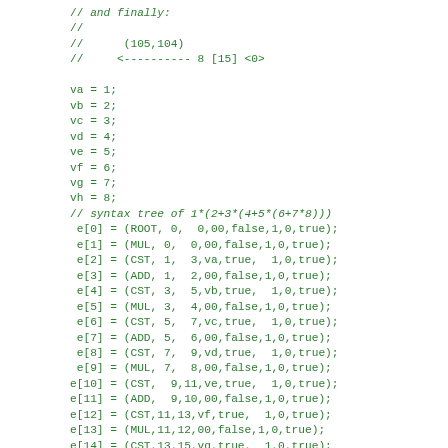// and finally:
//
//      (105,104)
//     <---------- 8 [15] <0>

va = 1;
vb = 2;
vc = 3;
vd = 4;
ve = 5;
vf = 6;
vg = 7;
vh = 8;
// syntax tree of 1*(2+3*(4+5*(6+7*8)))
 e[0] = (ROOT, 0,  0,00,false,1,0,true);
 e[1] = (MUL, 0,  0,00,false,1,0,true);
 e[2] = (CST, 1,  3,va,true,  1,0,true);
 e[3] = (ADD, 1,  2,00,false,1,0,true);
 e[4] = (CST, 3,  5,vb,true,  1,0,true);
 e[5] = (MUL, 3,  4,00,false,1,0,true);
 e[6] = (CST, 5,  7,vc,true,  1,0,true);
 e[7] = (ADD, 5,  6,00,false,1,0,true);
 e[8] = (CST, 7,  9,vd,true,  1,0,true);
 e[9] = (MUL, 7,  8,00,false,1,0,true);
e[10] = (CST,  9,11,ve,true,  1,0,true);
e[11] = (ADD,  9,10,00,false,1,0,true);
e[12] = (CST,11,13,vf,true,  1,0,true);
e[13] = (MUL,11,12,00,false,1,0,true);
e[14] = (CST,13,15,vg,true,  1,0,true);
e[15] = (CST,13,14,vh,false,1,0,true);
// snowed leafs